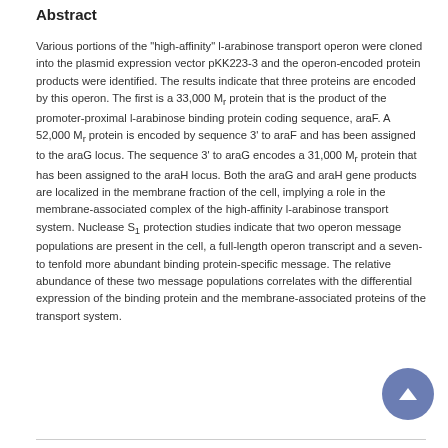Abstract
Various portions of the "high-affinity" l-arabinose transport operon were cloned into the plasmid expression vector pKK223-3 and the operon-encoded protein products were identified. The results indicate that three proteins are encoded by this operon. The first is a 33,000 Mr protein that is the product of the promoter-proximal l-arabinose binding protein coding sequence, araF. A 52,000 Mr protein is encoded by sequence 3' to araF and has been assigned to the araG locus. The sequence 3' to araG encodes a 31,000 Mr protein that has been assigned to the araH locus. Both the araG and araH gene products are localized in the membrane fraction of the cell, implying a role in the membrane-associated complex of the high-affinity l-arabinose transport system. Nuclease S1 protection studies indicate that two operon message populations are present in the cell, a full-length operon transcript and a seven-to tenfold more abundant binding protein-specific message. The relative abundance of these two message populations correlates with the differential expression of the binding protein and the membrane-associated proteins of the transport system.